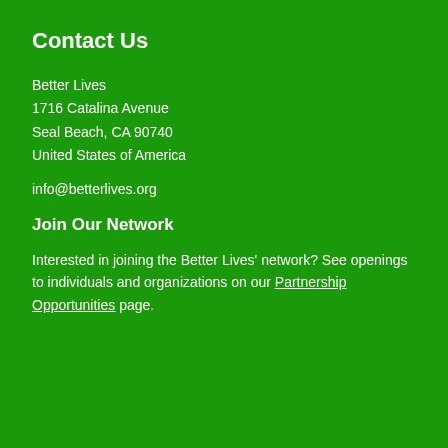Contact Us
Better Lives
1716 Catalina Avenue
Seal Beach, CA 90740
United States of America
info@betterlives.org
Join Our Network
Interested in joining the Better Lives' network? See openings to individuals and organizations on our Partnership Opportunities page.